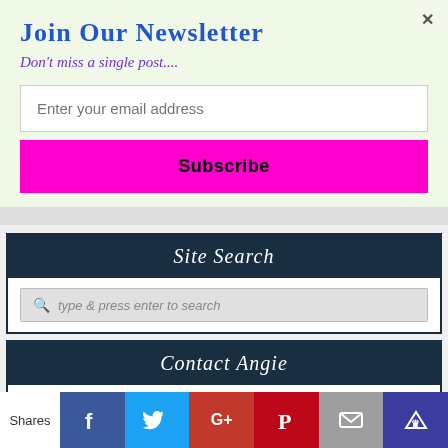Join Our Newsletter
Don't miss a single post....
Enter your email address
Subscribe
Site Search
type & press enter to search
Contact Angie
[Figure (infographic): Row of 5 pink circular social media icons: Facebook, Twitter, Goodreads, Email/Envelope, Amazon]
Shares
Social share bar with Facebook, Twitter, Google+, Pinterest, Email, Crown icons